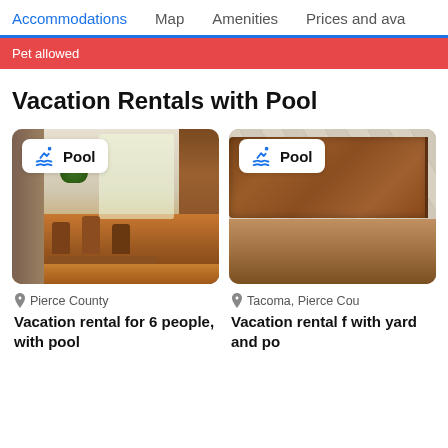Accommodations  Map  Amenities  Prices and ava
Pet allowed
Vacation Rentals with Pool
[Figure (photo): Interior photo of a vacation rental showing a dining room with wooden table and chairs, open-plan kitchen with wooden cabinets, large windows with natural light, hardwood floors, and a decorative rug. A 'Pool' badge with swimming icon appears in the top left.]
Pierce County
Vacation rental for 6 people, with pool
[Figure (photo): Interior photo of a vacation rental showing marble tile and wooden cabinet details. A 'Pool' badge with swimming icon appears in the top left.]
Tacoma, Pierce Cou
Vacation rental f with yard and po